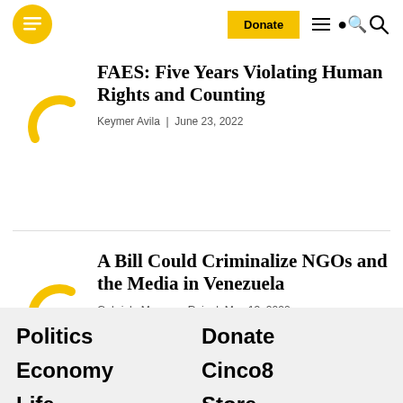Logo | Donate | Menu/Search
FAES: Five Years Violating Human Rights and Counting
Keymer Avila | June 23, 2022
A Bill Could Criminalize NGOs and the Media in Venezuela
Gabriela Mesones Rojo | May 13, 2022
Politics
Economy
Life
Donate
Cinco8
Store